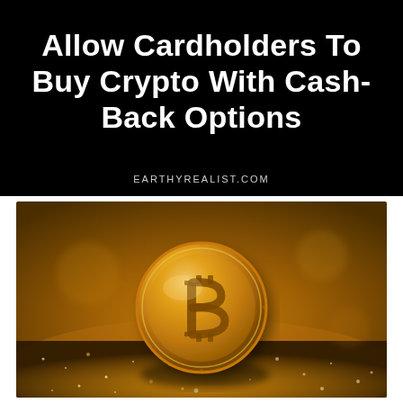Allow Cardholders To Buy Crypto With Cash-Back Options
EARTHYREALIST.COM
[Figure (photo): A gold Bitcoin physical coin standing upright on a glittering golden surface with bokeh background, warm amber tones throughout.]